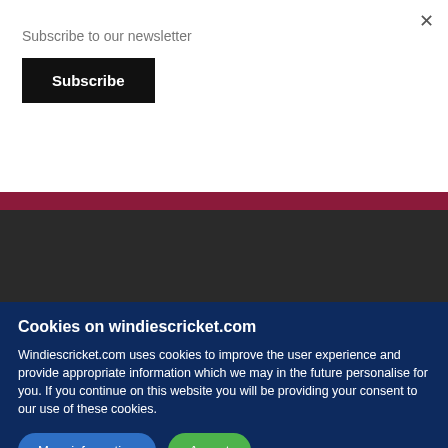Subscribe to our newsletter
Subscribe
Cookies on windiescricket.com
Windiescricket.com uses cookies to improve the user experience and provide appropriate information which we may in the future personalise for you. If you continue on this website you will be providing your consent to our use of these cookies.
More information
Accept